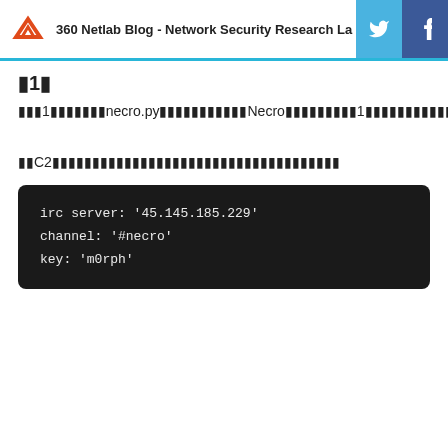360 Netlab Blog - Network Security Research La
▮1▮
▮▮▮1▮▮▮▮▮▮▮necro.py▮▮▮▮▮▮▮▮▮▮▮Necro▮▮▮▮▮▮▮▮▮1▮▮▮▮▮▮▮▮▮▮▮▮▮▮▮
▮▮C2▮▮▮▮▮▮▮▮▮▮▮▮▮▮▮▮▮▮▮▮▮▮▮▮▮▮▮▮
[Figure (screenshot): Code block showing IRC server configuration: irc server: '45.145.185.229', channel: '#necro', key: 'm0rph']